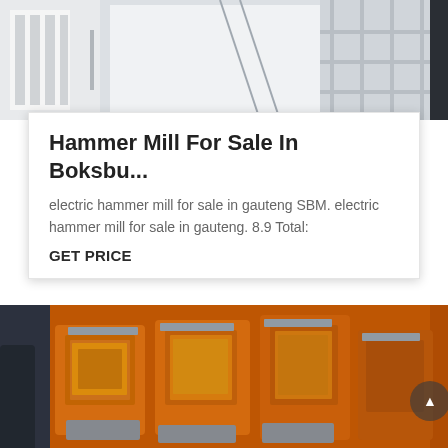[Figure (photo): White industrial machinery/equipment photographed from below, showing angular framework and structural components]
Hammer Mill For Sale In Boksbu...
electric hammer mill for sale in gauteng SBM. electric hammer mill for sale in gauteng. 8.9 Total:
GET PRICE
[Figure (photo): Multiple orange industrial hammer mill machines displayed in a warehouse or showroom setting, with grey metal compartments and housings visible]
Online  Get Quotation  Online Chat